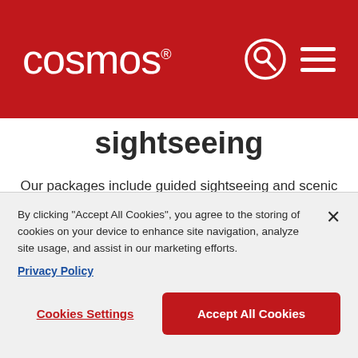cosmos.
sightseeing
Our packages include guided sightseeing and scenic highlights that reveal the best of your destination. Enjoy inside visits of the must-see sites with knowledgeable Local Guides who will bring each destination to life.
By clicking “Accept All Cookies”, you agree to the storing of cookies on your device to enhance site navigation, analyze site usage, and assist in our marketing efforts. Privacy Policy
Cookies Settings | Accept All Cookies